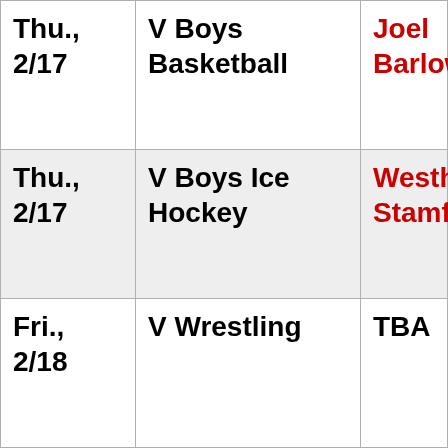| Date | Event | Opponent |
| --- | --- | --- |
| Thu., 2/17 | V Boys Basketball | Joel Barlow |
| Thu., 2/17 | V Boys Ice Hockey | Westhill-Stamfo... |
| Fri., 2/18 | V Wrestling | TBA |